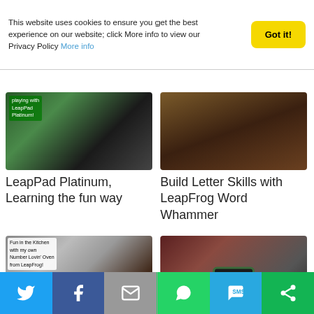This website uses cookies to ensure you get the best experience on our website; click More info to view our Privacy Policy More info
[Figure (photo): LeapPad Platinum product image with green overlay text 'playing with LeapPad Platinum!']
LeapPad Platinum, Learning the fun way
[Figure (photo): Build Letter Skills with LeapFrog Word Whammer product photo]
Build Letter Skills with LeapFrog Word Whammer
[Figure (photo): Child cooking with Number Lovin' Oven from LeapFrog; text overlay reads 'Fun in the Kitchen with my own Number Lovin' Oven from LeapFrog!']
Cooking with the Number Lovin' Oven
[Figure (photo): Girl holding LeapFrog Epic tablet showing 'epic' on screen]
LeapFrog Epic
[Figure (infographic): Social share bar with Twitter, Facebook, Email, WhatsApp, SMS, and ShareThis buttons]